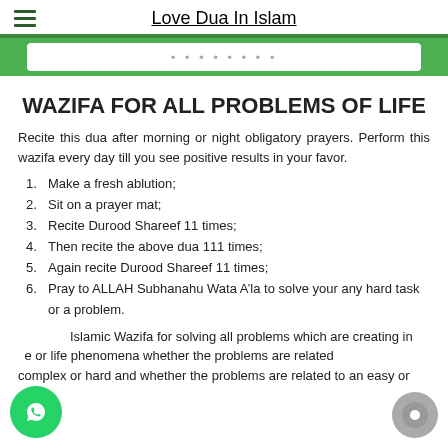Love Dua In Islam
[Figure (screenshot): Green banner with white rounded rectangle showing partial Arabic or decorative text]
WAZIFA FOR ALL PROBLEMS OF LIFE
Recite this dua after morning or night obligatory prayers. Perform this wazifa every day till you see positive results in your favor.
1. Make a fresh ablution;
2. Sit on a prayer mat;
3. Recite Durood Shareef 11 times;
4. Then recite the above dua 111 times;
5. Again recite Durood Shareef 11 times;
6. Pray to ALLAH Subhanahu Wata A'la to solve your any hard task or a problem.
Islamic Wazifa for solving all problems which are creating in life or life phenomena whether the problems are related complex or hard and whether the problems are related to an easy or